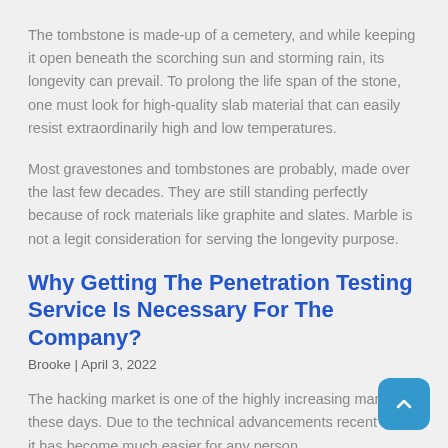The tombstone is made-up of a cemetery, and while keeping it open beneath the scorching sun and storming rain, its longevity can prevail. To prolong the life span of the stone, one must look for high-quality slab material that can easily resist extraordinarily high and low temperatures.
Most gravestones and tombstones are probably, made over the last few decades. They are still standing perfectly because of rock materials like graphite and slates. Marble is not a legit consideration for serving the longevity purpose.
Why Getting The Penetration Testing Service Is Necessary For The Company?
Brooke | April 3, 2022
The hacking market is one of the highly increasing markets these days. Due to the technical advancements recent times, it has become much easier for any person